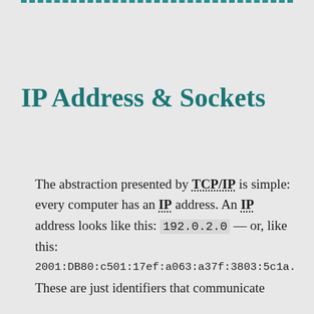[Figure (other): Teal dashed border line at top of page]
IP Address & Sockets
The abstraction presented by TCP/IP is simple: every computer has an IP address. An IP address looks like this: 192.0.2.0 — or, like this:
2001:DB80:c501:17ef:a063:a37f:3803:5c1a.
These are just identifiers that communicate